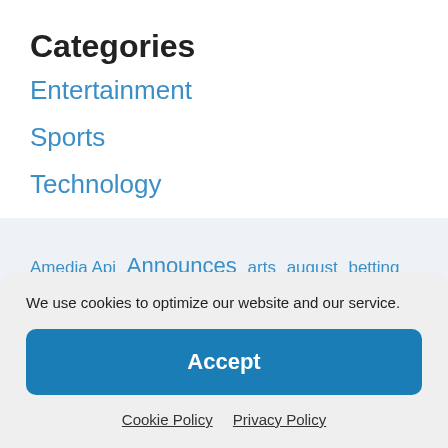Categories
Entertainment
Sports
Technology
Amedia Api  Announces  arts  august  betting  Camp  Center  college  computer  Day  dcc  economy
We use cookies to optimize our website and our service.
Accept
Cookie Policy   Privacy Policy